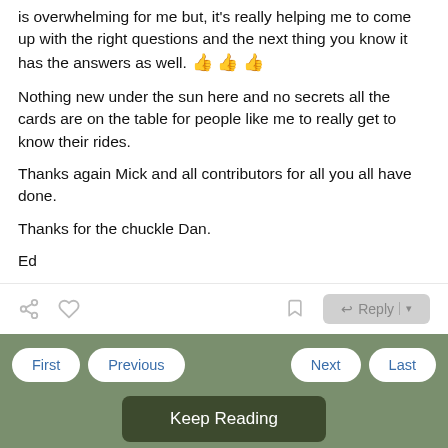is overwhelming for me but, it's really helping me to come up with the right questions and the next thing you know it has the answers as well. 👍 👍 👍
Nothing new under the sun here and no secrets all the cards are on the table for people like me to really get to know their rides.
Thanks again Mick and all contributors for all you all have done.
Thanks for the chuckle Dan.
Ed
[Figure (screenshot): Navigation bar with First, Previous, Next, Last buttons and Keep Reading button on green background, plus advertisement bar and page footer with copyright.]